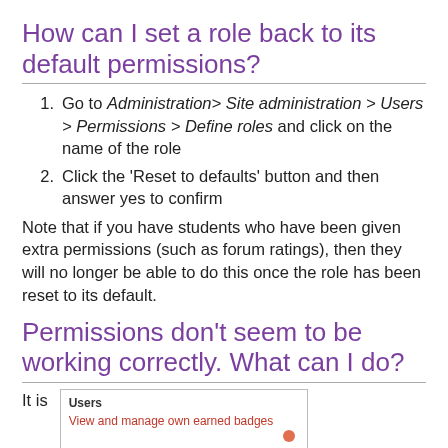How can I set a role back to its default permissions?
Go to Administration> Site administration > Users > Permissions > Define roles and click on the name of the role
Click the 'Reset to defaults' button and then answer yes to confirm
Note that if you have students who have been given extra permissions (such as forum ratings), then they will no longer be able to do this once the role has been reset to its default.
Permissions don't seem to be working correctly. What can I do?
It is
[Figure (screenshot): Screenshot of a Moodle permissions interface showing a 'Users' section with a 'View and manage own earned badges' link and a badge dot indicator.]